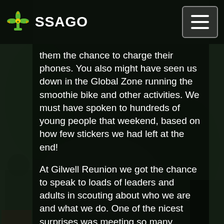SSAGO
them the chance to charge their phones. You also might have seen us down in the Global Zone running the smoothie bike and other activities. We must have spoken to hundreds of young people that weekend, based on how few stickers we had left at the end!
At Gilwell Reunion we got the chance to speak to loads of leaders and adults in scouting about who we are and what we do. One of the nicest surprises was meeting so many former SSAGO members who are still involved in Scouting, including a few members who remember the creation of SSAGO in it?s present form back in the late 60s! We also had some excellent publicity that weekend, Cat the SSAGO Chair was interviewed for Scout Radio, and we even